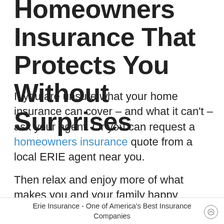Homeowners Insurance That Protects You Without Surprises
If you are unsure what your home insurance can cover – and what it can't – ask your agent. Or you can request a homeowners insurance quote from a local ERIE agent near you.
Then relax and enjoy more of what makes you and your family happy knowing that your home, the
Erie Insurance - One of America's Best Insurance Companies